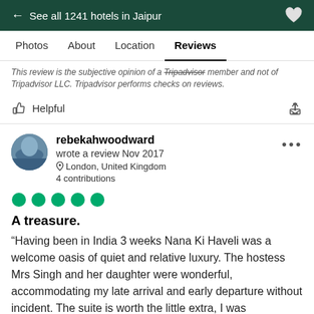← See all 1241 hotels in Jaipur
Photos  About  Location  Reviews
This review is the subjective opinion of a Tripadvisor member and not of Tripadvisor LLC. Tripadvisor performs checks on reviews.
Helpful
rebekahwoodward
wrote a review Nov 2017
London, United Kingdom
4 contributions
[Figure (other): Five green circle rating dots indicating 5-star review]
A treasure.
“Having been in India 3 weeks Nana Ki Haveli was a welcome oasis of quiet and relative luxury. The hostess Mrs Singh and her daughter were wonderful, accommodating my late arrival and early departure without incident. The suite is worth the little extra, I was